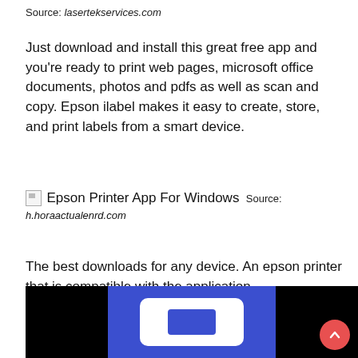Source: lasertekservices.com
Just download and install this great free app and you're ready to print web pages, microsoft office documents, photos and pdfs as well as scan and copy. Epson ilabel makes it easy to create, store, and print labels from a smart device.
[Figure (other): Broken image placeholder labeled 'Epson Printer App For Windows' followed by 'Source: h.horaactualenrd.com']
The best downloads for any device. An epson printer that is compatible with the application.
[Figure (screenshot): Bottom portion of a screenshot showing a dark background with a blue square icon containing a white rounded rectangle with a blue inner rectangle, and a red circular scroll-to-top button with a chevron arrow in the bottom right.]